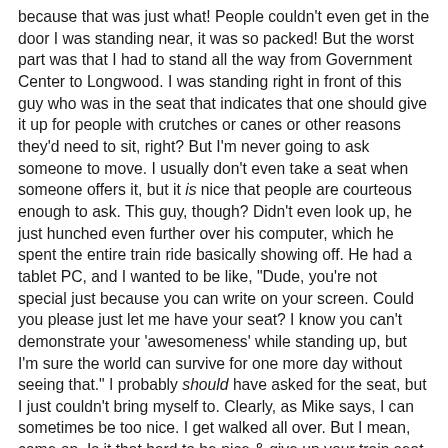because that was just what! People couldn't even get in the door I was standing near, it was so packed! But the worst part was that I had to stand all the way from Government Center to Longwood. I was standing right in front of this guy who was in the seat that indicates that one should give it up for people with crutches or canes or other reasons they'd need to sit, right? But I'm never going to ask someone to move. I usually don't even take a seat when someone offers it, but it is nice that people are courteous enough to ask. This guy, though? Didn't even look up, he just hunched even further over his computer, which he spent the entire train ride basically showing off. He had a tablet PC, and I wanted to be like, "Dude, you're not special just because you can write on your screen. Could you please just let me have your seat? I know you can't demonstrate your 'awesomeness' while standing up, but I'm sure the world can survive for one more day without seeing that." I probably should have asked for the seat, but I just couldn't bring myself to. Clearly, as Mike says, I can sometimes be too nice. I get walked all over. But I mean, come on. Is it that hard to be nice & give up your train seat for one morning? The guy was clearly not in need of it (save to display how damn cool he was using his tablet); he was probably a few years younger than me. And he pissed